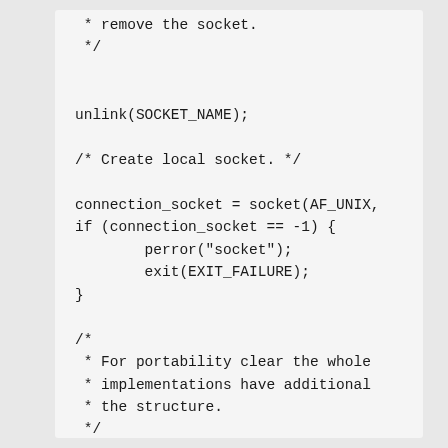* remove the socket.
 */

unlink(SOCKET_NAME);

/* Create local socket. */

connection_socket = socket(AF_UNIX,
if (connection_socket == -1) {
        perror("socket");
        exit(EXIT_FAILURE);
}

/*
 * For portability clear the whole
 * implementations have additional
 * the structure.
 */